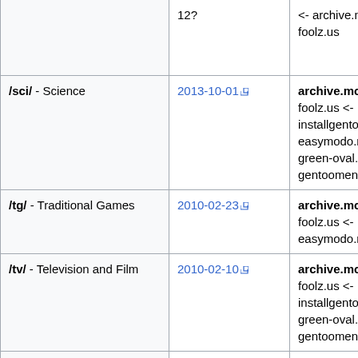| Board | Earliest archived post | Archiving priority |
| --- | --- | --- |
|  | 12? | <- archive.moe <- foolz.us |
| /sci/ - Science | 2013-10-01 | archive.moe <- foolz.us <- installgentoo.net easymodo.net <- green-oval.net + gentoomen |
| /tg/ - Traditional Games | 2010-02-23 | archive.moe <- foolz.us <- easymodo.net |
| /tv/ - Television and Film | 2010-02-10 | archive.moe <- foolz.us <- installgentoo.net green-oval.net + gentoomen |
| /v/ - Video Games | 2012-02-12 | archive.moe <- vidya.moe <- foo <- |